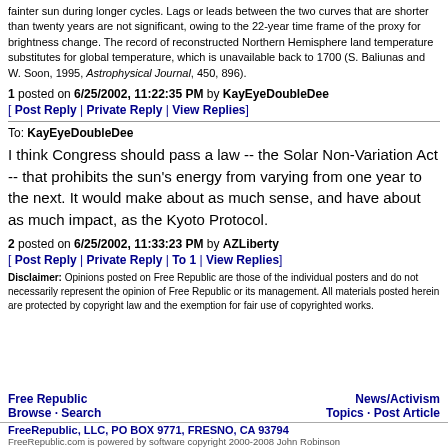fainter sun during longer cycles. Lags or leads between the two curves that are shorter than twenty years are not significant, owing to the 22-year time frame of the proxy for brightness change. The record of reconstructed Northern Hemisphere land temperature substitutes for global temperature, which is unavailable back to 1700 (S. Baliunas and W. Soon, 1995, Astrophysical Journal, 450, 896).
1 posted on 6/25/2002, 11:22:35 PM by KayEyeDoubleDee
[ Post Reply | Private Reply | View Replies]
To: KayEyeDoubleDee
I think Congress should pass a law -- the Solar Non-Variation Act -- that prohibits the sun's energy from varying from one year to the next. It would make about as much sense, and have about as much impact, as the Kyoto Protocol.
2 posted on 6/25/2002, 11:33:23 PM by AZLiberty
[ Post Reply | Private Reply | To 1 | View Replies]
Disclaimer: Opinions posted on Free Republic are those of the individual posters and do not necessarily represent the opinion of Free Republic or its management. All materials posted herein are protected by copyright law and the exemption for fair use of copyrighted works.
Free Republic Browse · Search News/Activism Topics · Post Article FreeRepublic, LLC, PO BOX 9771, FRESNO, CA 93794 FreeRepublic.com is powered by software copyright 2000-2008 John Robinson